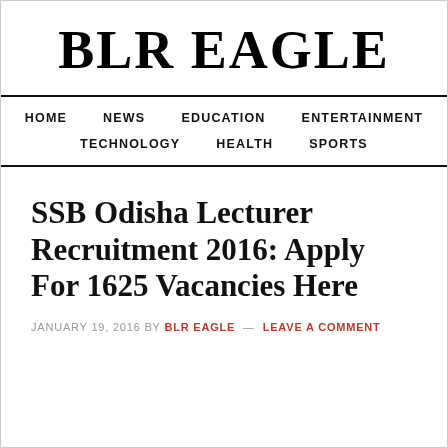BLR EAGLE
HOME   NEWS   EDUCATION   ENTERTAINMENT   TECHNOLOGY   HEALTH   SPORTS
SSB Odisha Lecturer Recruitment 2016: Apply For 1625 Vacancies Here
JANUARY 19, 2016 BY BLR EAGLE — LEAVE A COMMENT